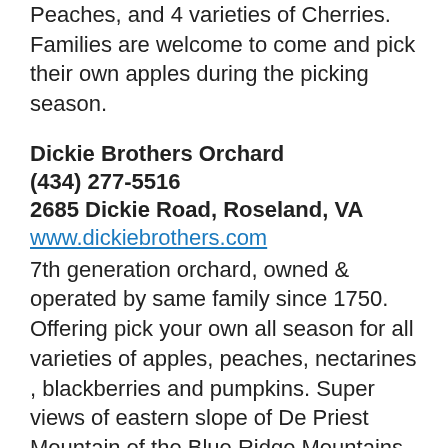Peaches, and 4 varieties of Cherries. Families are welcome to come and pick their own apples during the picking season.
Dickie Brothers Orchard
(434) 277-5516
2685 Dickie Road, Roseland, VA
www.dickiebrothers.com
7th generation orchard, owned & operated by same family since 1750. Offering pick your own all season for all varieties of apples, peaches, nectarines , blackberries and pumpkins. Super views of eastern slope of De Priest Mountain of the Blue Ridge Mountains of Virginia
Drumheller's Orchard
(804) 263-5036
1130 Drumheller... Lane